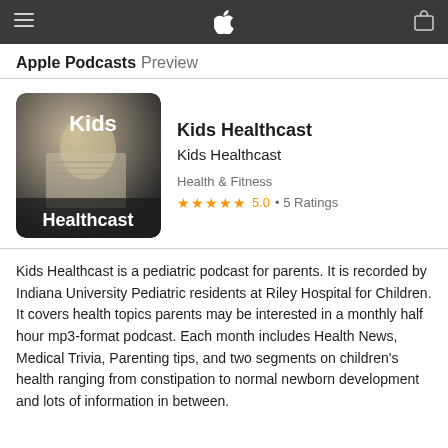Apple Podcasts Preview
Kids Healthcast
Kids Healthcast
Health & Fitness
★★★★★ 5.0 • 5 Ratings
Kids Healthcast is a pediatric podcast for parents. It is recorded by Indiana University Pediatric residents at Riley Hospital for Children. It covers health topics parents may be interested in a monthly half hour mp3-format podcast. Each month includes Health News, Medical Trivia, Parenting tips, and two segments on children's health ranging from constipation to normal newborn development and lots of information in between.